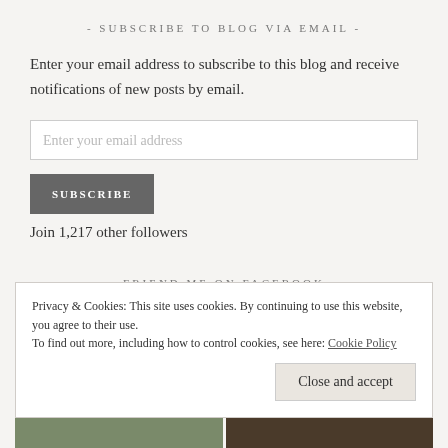- SUBSCRIBE TO BLOG VIA EMAIL -
Enter your email address to subscribe to this blog and receive notifications of new posts by email.
Enter your email address
SUBSCRIBE
Join 1,217 other followers
- FRIEND ME ON FACEBOOK -
Privacy & Cookies: This site uses cookies. By continuing to use this website, you agree to their use.
To find out more, including how to control cookies, see here: Cookie Policy
Close and accept